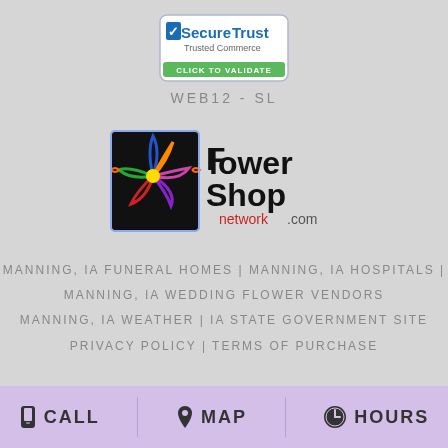[Figure (logo): SecureTrust Trusted Commerce CLICK TO VALIDATE badge]
WEB12-SL
[Figure (logo): Flower Shop Network .com logo with colorful flower graphic]
MANNING, IA FUNERAL HOMES | MANNING, IA HOSPITALS | MANNING, IA WEDDING FLOWER VENDORS
MANNING, IA WEATHER | IA STATE GOVERNMENT SITE
PRIVACY POLICY | TERMS OF PURCHASE
CALL   MAP   HOURS